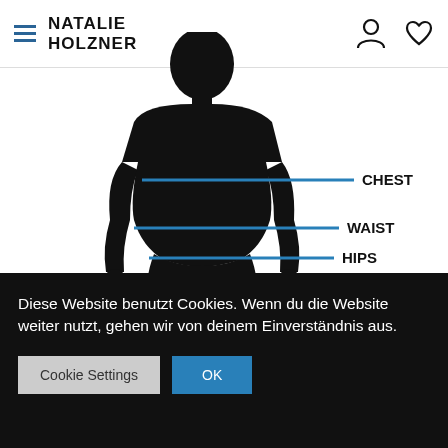NATALIE HOLZNER
[Figure (illustration): Female body silhouette (back view) with three horizontal blue lines indicating CHEST, WAIST, and HIPS measurements labeled to the right.]
Diese Website benutzt Cookies. Wenn du die Website weiter nutzt, gehen wir von deinem Einverständnis aus.
Cookie Settings | OK